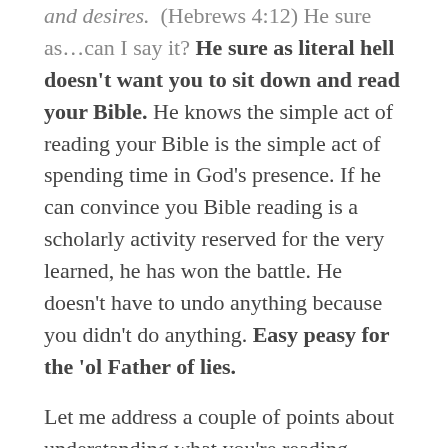and desires. (Hebrews 4:12) He sure as…can I say it? He sure as literal hell doesn't want you to sit down and read your Bible. He knows the simple act of reading your Bible is the simple act of spending time in God's presence. If he can convince you Bible reading is a scholarly activity reserved for the very learned, he has won the battle. He doesn't have to undo anything because you didn't do anything. Easy peasy for the 'ol Father of lies.

Let me address a couple of points about understanding what you're reading.